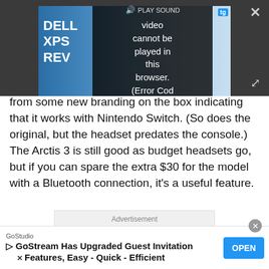[Figure (screenshot): Video player overlay showing 'PLAY SOUND' button and error message 'Video cannot be played in this browser. (Error Cod' with a 'tg' badge, close button, and expand button. Background shows partial laptop review thumbnail with text 'DELL XPS REV'.]
from some new branding on the box indicating that it works with Nintendo Switch. (So does the original, but the headset predates the console.) The Arctis 3 is still good as budget headsets go, but if you can spare the extra $30 for the model with a Bluetooth connection, it's a useful feature.
Advertisement
GoStudio
GoStream Has Upgraded Guest Invitation Features, Easy - Quick - Efficient